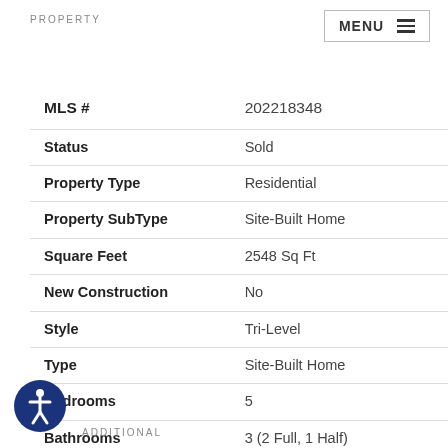PROPERTY
| Field | Value |
| --- | --- |
| MLS # | 202218348 |
| Status | Sold |
| Property Type | Residential |
| Property SubType | Site-Built Home |
| Square Feet | 2548 Sq Ft |
| New Construction | No |
| Style | Tri-Level |
| Type | Site-Built Home |
| Bedrooms | 5 |
| Bathrooms | 3 (2 Full, 1 Half) |
| Annual Taxes | $213.08 |
| Year Taxes Payable | 2022 |
| Year Built | 1967 |
| Days on Market | 41 |
[Figure (logo): Accessibility icon - person in circle with dark blue background]
ADDITIONAL